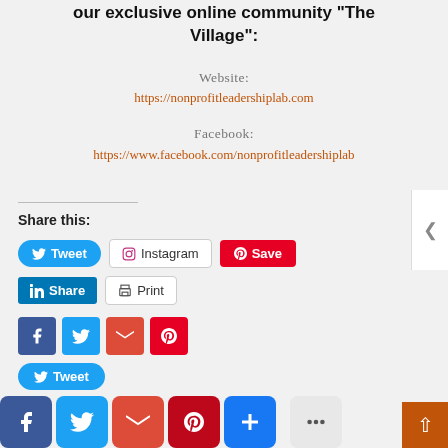our exclusive online community "The Village":
Website:
https://nonprofitleadershiplab.com
Facebook:
https://www.facebook.com/nonprofitleadershiplab
Share this:
[Figure (infographic): Social share buttons: Tweet (Twitter), Instagram, Save (Pinterest), Share (LinkedIn), Print, and social media icon squares for Facebook, Twitter, Email, Pinterest, plus Tweet button, and large icon squares for Facebook, Twitter, Email, Pinterest, AddThis, More]